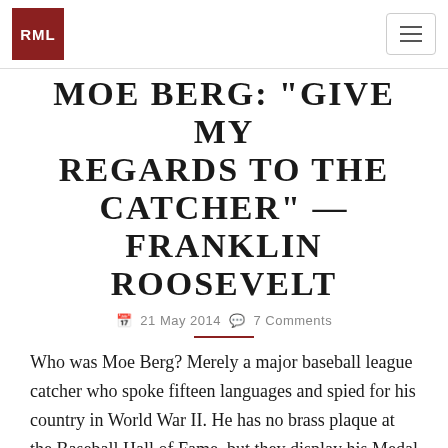RML
MOE BERG: "GIVE MY REGARDS TO THE CATCHER" —FRANKLIN ROOSEVELT
21 May 2014  7 Comments
Who was Moe Berg? Merely a major baseball league catcher who spoke fifteen languages and spied for his country in World War II. He has no brass plaque at the Baseball Hall of Fame, but they display his Medal of Merit.
READ MORE